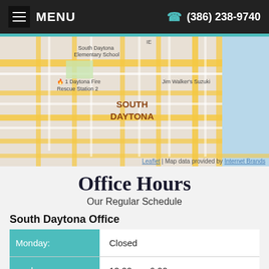MENU   (386) 238-9740
[Figure (map): Street map showing South Daytona area with South Daytona Elementary School, South Daytona Fire Rescue Station 2, Jim Walker's Suzuki, and road network. Leaflet | Map data provided by Internet Brands]
Office Hours
Our Regular Schedule
South Daytona Office
| Day | Hours |
| --- | --- |
| Monday: | Closed |
| [day]: | 12:00 pm-6:00 pm |
| Wednesday: | 12:00 pm-6:00 pm |